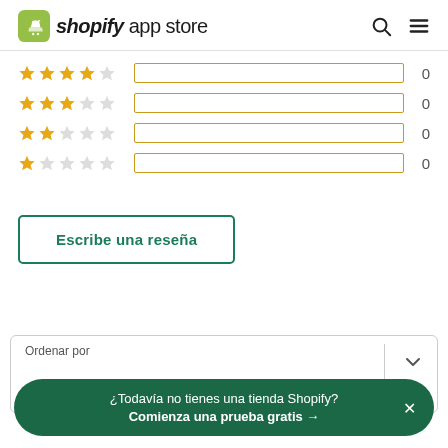shopify app store
[Figure (other): Rating bars showing 4-star, 3-star, 2-star, and 1-star ratings, all with value 0]
Escribe una reseña
| Ordenar por |
| --- |
| Todas las calificaciones |
¿Todavía no tienes una tienda Shopify? Comienza una prueba gratis →